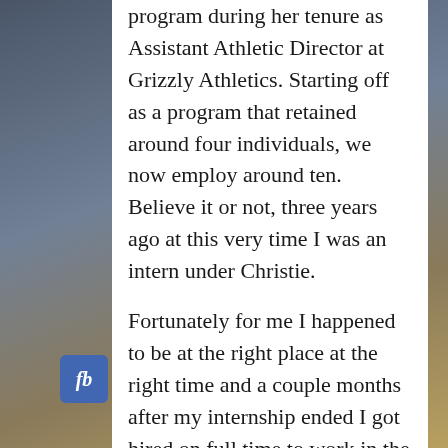program during her tenure as Assistant Athletic Director at Grizzly Athletics. Starting off as a program that retained around four individuals, we now employ around ten. Believe it or not, three years ago at this very time I was an intern under Christie. Fortunately for me I happened to be at the right place at the right time and a couple months after my internship ended I got hired on full time to work in the athletic department and have the opportunity to help make the experiences of future interns just as positive as mine.

This month, the majority of our 2011-12 class of interns will graduate from The University of Montana. A couple who are currently
[Figure (logo): Facebook 'fb' button icon, blue square with white italic fb text]